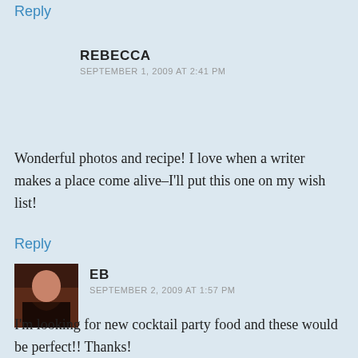Reply
REBECCA
SEPTEMBER 1, 2009 AT 2:41 PM
Wonderful photos and recipe! I love when a writer makes a place come alive–I'll put this one on my wish list!
Reply
EB
SEPTEMBER 2, 2009 AT 1:57 PM
I'm looking for new cocktail party food and these would be perfect!! Thanks!